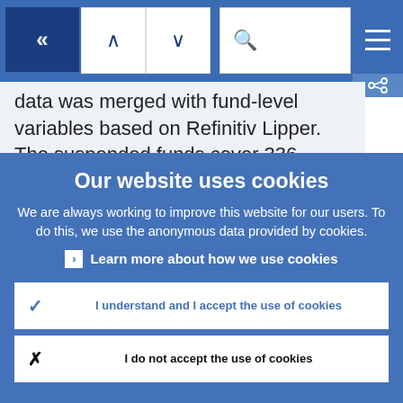[Figure (screenshot): Website navigation bar with back button, up/down arrows, search box, hamburger menu, and share icon on a blue background]
data was merged with fund-level variables based on Refinitiv Lipper. The suspended funds cover 336 different
Our website uses cookies
We are always working to improve this website for our users. To do this, we use the anonymous data provided by cookies.
Learn more about how we use cookies
I understand and I accept the use of cookies
I do not accept the use of cookies